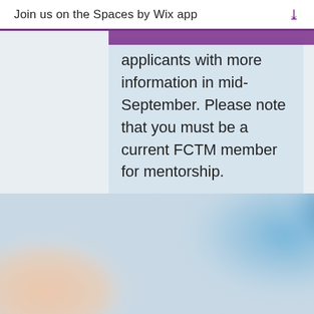Join us on the Spaces by Wix app ↓
applicants with more information in mid-September. Please note that you must be a current FCTM member for mentorship.
If you're not a first-year math teacher but know one, please feel free to direct to this webpage or access the form on FCTM homepage at www.fctm.net.
[Figure (photo): Blurred photo of hands/materials in warm and blue tones at the bottom of the page]